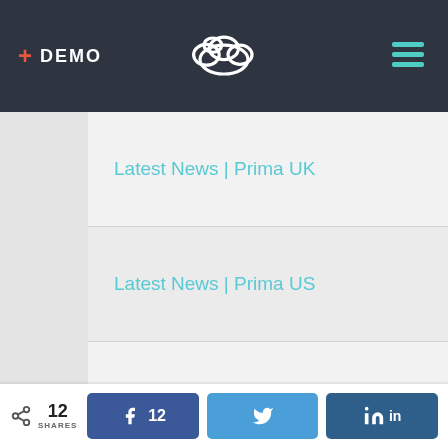+ DEMO
Latest News | Prima UK
Latest News | Prima US
Latest Releases – Prima
Latest Releases – Prima GO
Newsletter
Oli And Molly
Podcast
< 12 SHARES  [Facebook 12] [Twitter] [LinkedIn]